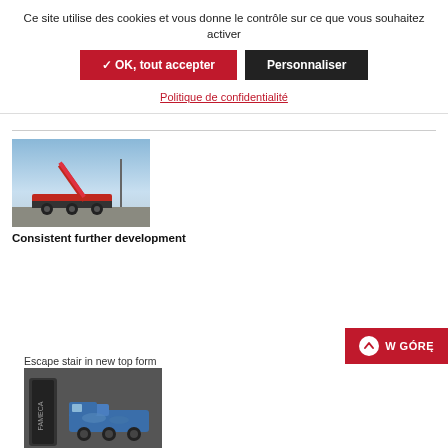Ce site utilise des cookies et vous donne le contrôle sur ce que vous souhaitez activer
✓ OK, tout accepter
Personnaliser
Politique de confidentialité
[Figure (photo): Photo of a large truck-mounted aerial stair/ladder crane vehicle on a flat outdoor surface with blue sky background]
Consistent further development
In detail
Escape stair in new top form
[Figure (photo): Photo of a black tool/device next to a miniature blue crane truck model on dark grey background]
Rosenbauer Calendar 2022
News
Table and wall calendars are available now